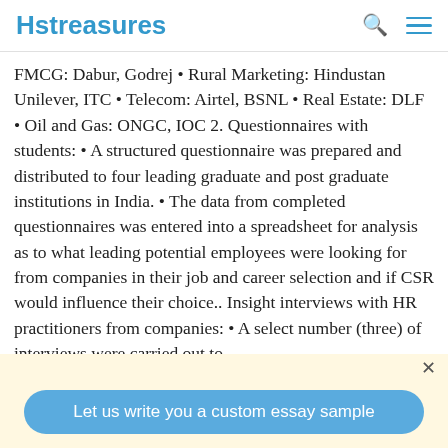Hstreasures
FMCG: Dabur, Godrej • Rural Marketing: Hindustan Unilever, ITC • Telecom: Airtel, BSNL • Real Estate: DLF • Oil and Gas: ONGC, IOC 2. Questionnaires with students: • A structured questionnaire was prepared and distributed to four leading graduate and post graduate institutions in India. • The data from completed questionnaires was entered into a spreadsheet for analysis as to what leading potential employees were looking for from companies in their job and career selection and if CSR would influence their choice.. Insight interviews with HR practitioners from companies: • A select number (three) of interviews were carried out to
Let us write you a custom essay sample